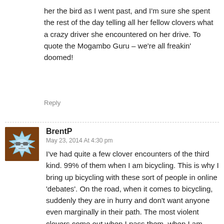her the bird as I went past, and I'm sure she spent the rest of the day telling all her fellow clovers what a crazy driver she encountered on her drive. To quote the Mogambo Guru – we're all freakin' doomed!
Reply
BrentP
May 23, 2014 At 4:30 pm
I've had quite a few clover encounters of the third kind. 99% of them when I am bicycling. This is why I bring up bicycling with these sort of people in online 'debates'. On the road, when it comes to bicycling, suddenly they are in hurry and don't want anyone even marginally in their path. The most violent clovers come out when I pass them, when I am bicycling.